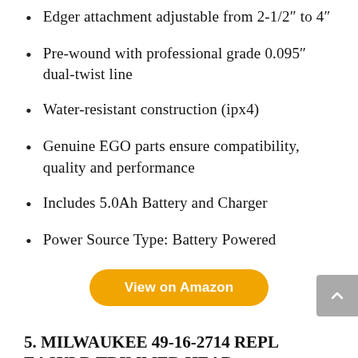Edger attachment adjustable from 2-1/2″ to 4″
Pre-wound with professional grade 0.095″ dual-twist line
Water-resistant construction (ipx4)
Genuine EGO parts ensure compatibility, quality and performance
Includes 5.0Ah Battery and Charger
Power Source Type: Battery Powered
View on Amazon
5. MILWAUKEE 49-16-2714 REPL EASYLD TRIMMER HEAD